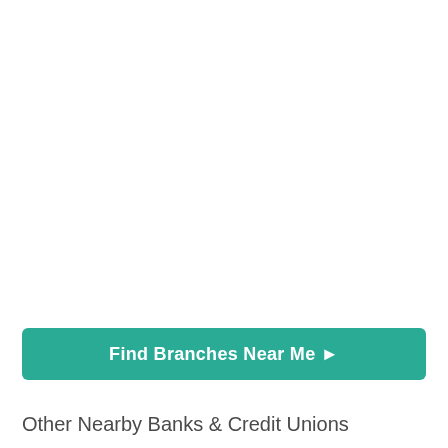Find Branches Near Me ➤
Other Nearby Banks & Credit Unions